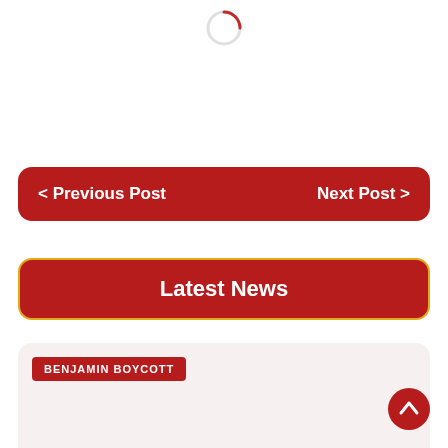[Figure (other): Loading spinner icon — partial red arc circle in top center]
< Previous Post   Next Post >
Latest News
BENJAMIN BOYCOTT